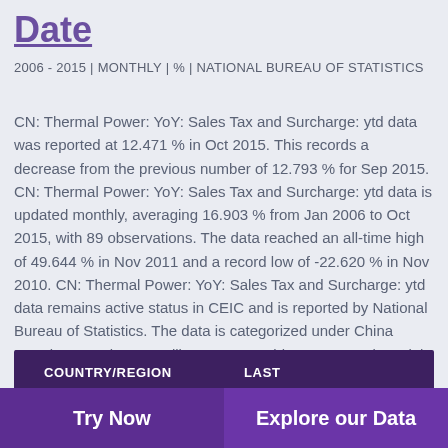Date
2006 - 2015 | MONTHLY | % | NATIONAL BUREAU OF STATISTICS
CN: Thermal Power: YoY: Sales Tax and Surcharge: ytd data was reported at 12.471 % in Oct 2015. This records a decrease from the previous number of 12.793 % for Sep 2015. CN: Thermal Power: YoY: Sales Tax and Surcharge: ytd data is updated monthly, averaging 16.903 % from Jan 2006 to Oct 2015, with 89 observations. The data reached an all-time high of 49.644 % in Nov 2011 and a record low of -22.620 % in Nov 2010. CN: Thermal Power: YoY: Sales Tax and Surcharge: ytd data remains active status in CEIC and is reported by National Bureau of Statistics. The data is categorized under China Premium Database’s Utility Sector – Table CN.RCB: Financial Data: Electricity Production: Thermal Power.
| COUNTRY/REGION | LAST |
| --- | --- |
Try Now
Explore our Data